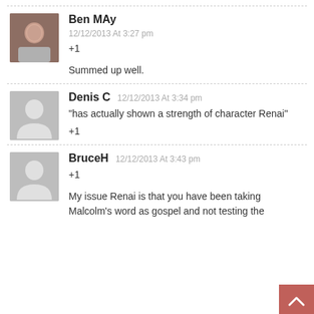Ben MAy
12/12/2013 At 3:27 pm
+1

Summed up well.
Denis C
12/12/2013 At 3:34 pm
“has actually shown a strength of character Renai"
+1
BruceH
12/12/2013 At 3:43 pm
+1

My issue Renai is that you have been taking Malcolm's word as gospel and not testing the